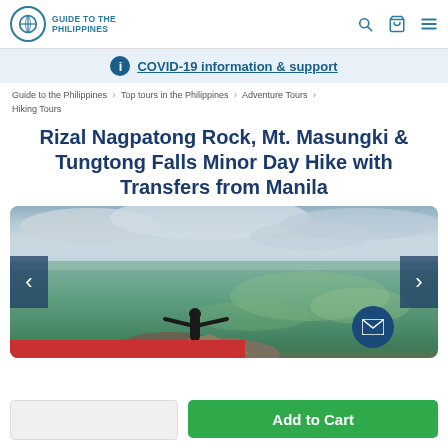Guide to the Philippines
COVID-19 information & support
Guide to the Philippines > Top tours in the Philippines > Adventure Tours > Hiking Tours
Rizal Nagpatong Rock, Mt. Masungki & Tungtong Falls Minor Day Hike with Transfers from Manila
[Figure (photo): Person standing on rock with arms outstretched overlooking a green valley landscape with cloudy sky]
Add to Cart